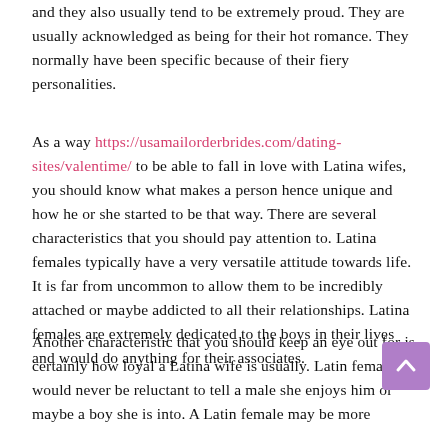and they also usually tend to be extremely proud. They are usually acknowledged as being for their hot romance. They normally have been specific because of their fiery personalities.
As a way https://usamailorderbrides.com/dating-sites/valentime/ to be able to fall in love with Latina wifes, you should know what makes a person hence unique and how he or she started to be that way. There are several characteristics that you should pay attention to. Latina females typically have a very versatile attitude towards life. It is far from uncommon to allow them to be incredibly attached or maybe addicted to all their relationships. Latina females are extremely dedicated to the boys in their lives and would do anything for their associates.
Another characteristic that you should keep an eye out for is certainly how loyal a Latina wife is usually. Latin females would never be reluctant to tell a male she enjoys him or maybe a boy she is into. A Latin female may be more dedicated than the average associate to ensure...